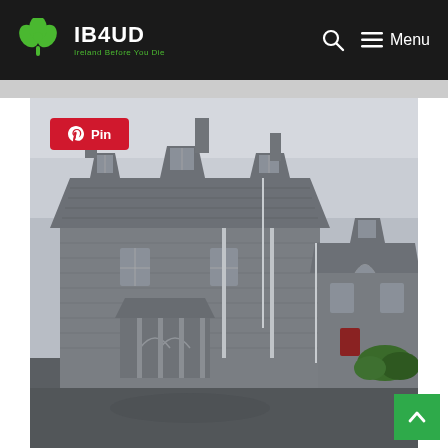IB4UD — Ireland Before You Die — navigation header with search and menu icons
[Figure (photo): A large Gothic-style grey stone building with a slate roof, dormer windows, decorative Gothic arches on the ground floor entrance, and chimneys. Shot from a parking area on an overcast day. A red Pinterest 'Pin' button is overlaid in the upper-left corner of the image. A green back-to-top arrow button appears in the bottom-right corner.]